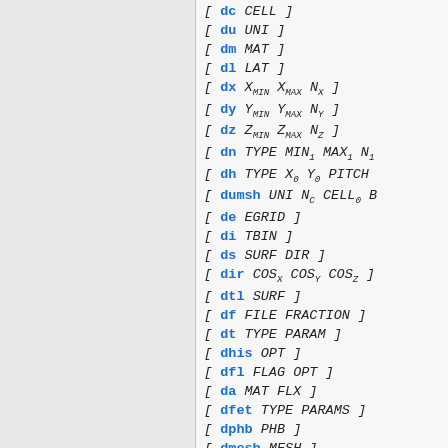[ dc CELL ]
[ du UNI ]
[ dm MAT ]
[ dl LAT ]
[ dx X_MIN X_MAX N_X ]
[ dy Y_MIN Y_MAX N_Y ]
[ dz Z_MIN Z_MAX N_Z ]
[ dn TYPE MIN_1 MAX_1 N_1 ]
[ dh TYPE X_0 Y_0 PITCH ]
[ dumsh UNI N_C CELL_0 B ]
[ de EGRID ]
[ di TBIN ]
[ ds SURF DIR ]
[ dir COS_X COS_Y COS_Z ]
[ dtl SURF ]
[ df FILE FRACTION ]
[ dt TYPE PARAM ]
[ dhis OPT ]
[ dfl FLAG OPT ]
[ da MAT FLX ]
[ dfet TYPE PARAMS ]
[ dphb PHB ]
[ dmesh MESH ]